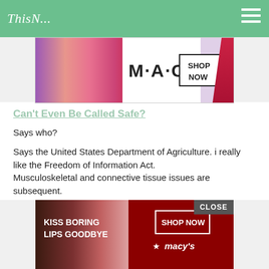ThisN...
[Figure (photo): M·A·C cosmetics advertisement showing colorful lipsticks with text 'M·A·C' and 'SHOP NOW' button]
Can't Even Be Called Safe?
Says who?
Says the United States Department of Agriculture. i really like the Freedom of Information Act.
Musculoskeletal and connective tissue issues are subsequent.
I continually assumed cholesterol drugs have been the top class of medication prescribed. But, it's truely painkillers, for situations like fibromyalgia, a syndrome suffered through hundreds of thousands, that may be dramatically prescribed.
[Figure (photo): Macy's advertisement with 'KISS BORING LIPS GOODBYE' text, woman with red lips, and 'SHOP NOW' button]